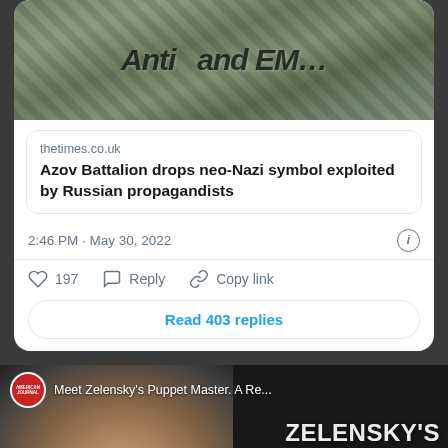[Figure (screenshot): Top portion of a tweet card showing soldiers in camouflage with text 'Anti' and 'EMR' visible]
thetimes.co.uk
Azov Battalion drops neo-Nazi symbol exploited by Russian propagandists
2:46 PM · May 30, 2022
197  Reply  Copy link
Read 403 replies
[Figure (screenshot): American Journal video thumbnail showing a person with glasses, text 'Meet Zelensky's Puppet Master. A Re...' and large text 'ZELENSKY'S PUPPET' with X logo overlay and scroll-up button]